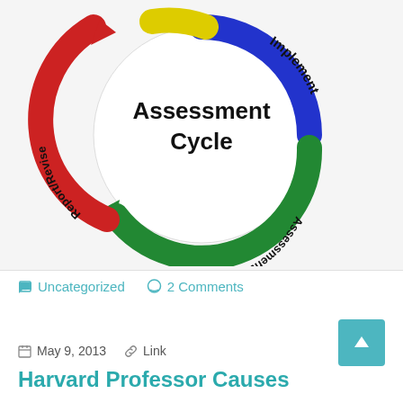[Figure (infographic): Assessment Cycle circular diagram with four colored arrows: yellow (top), blue (right, Implement), green (bottom, Assessment), red (left, Report/Revise). Center text reads 'Assessment Cycle'.]
🏷 Uncategorized   💬 2 Comments
📅 May 9, 2013   🔗 Link
Harvard Professor Causes